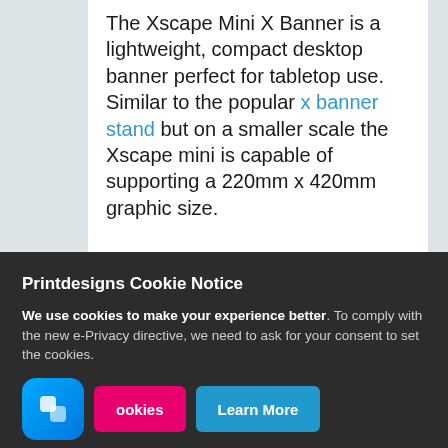The Xscape Mini X Banner is a lightweight, compact desktop banner perfect for tabletop use. Similar to the popular x banner stand but on a smaller scale the Xscape mini is capable of supporting a 220mm x 420mm graphic size.
Printdesigns Cookie Notice
We use cookies to make your experience better. To comply with the new e-Privacy directive, we need to ask for your consent to set the cookies.